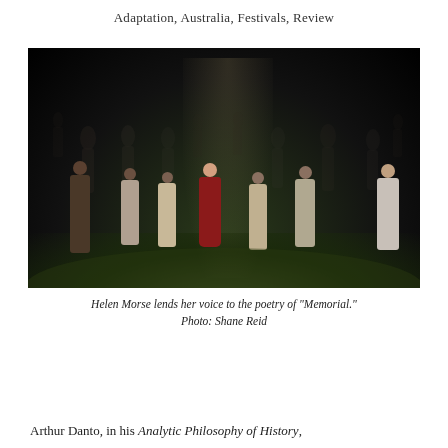Adaptation, Australia, Festivals, Review
[Figure (photo): A theatrical stage photograph showing a woman in a red dress standing still at center stage under a spotlight, surrounded by other performers who are moving in semi-darkness on a grass-covered stage.]
Helen Morse lends her voice to the poetry of "Memorial."
Photo: Shane Reid
Arthur Danto, in his Analytic Philosophy of History,